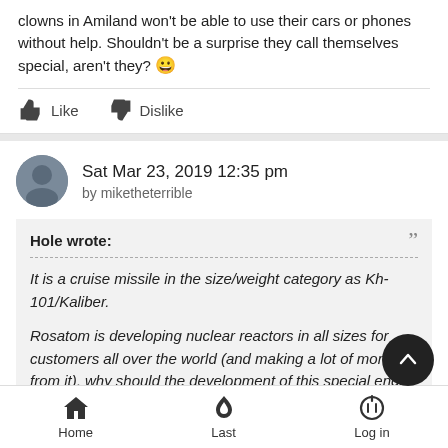clowns in Amiland won't be able to use their cars or phones without help. Shouldn't be a surprise they call themselves special, aren't they? 😀
Like   Dislike
Sat Mar 23, 2019 12:35 pm
by miketheterrible
Hole wrote:
It is a cruise missile in the size/weight category as Kh-101/Kaliber.

Rosatom is developing nuclear reactors in all sizes for customers all over the world (and making a lot of money from it), why should the development of this special engi... be out of reach for their specialists + that of other state...
Home   Last   Log in